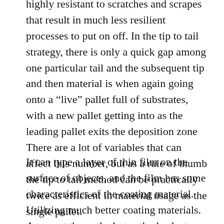highly resistant to scratches and scrapes that result in much less resilient processes to put on off. In the tip to tail strategy, there is only a quick gap among one particular tail and the subsequent tip and then material is when again going onto a “live” pallet full of substrates, with a new pallet getting into as the leading pallet exits the deposition zone There are a lot of variables that can affect this number, but as a rule of thumb the tip to tail method can be practically twice as efficient in material usage as the single pallet.
It can type a layer of thin film on the surface of objects, and the film has some characteristics of the coating material. Utilizing much better coating materials. Amongst them, the hot cathode electron gun evaporates is a design of evaporation utilizing the electron beam to